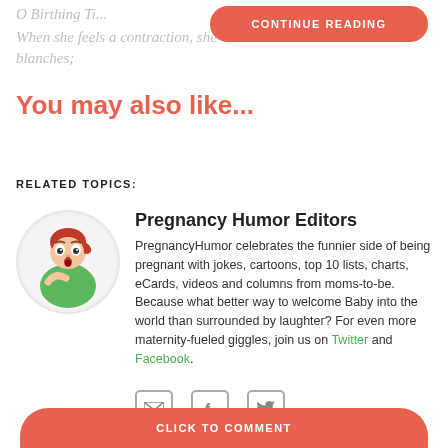O Birthing Ti...
When she feels a contraction, she blanches;
CONTINUE READING
You may also like...
RELATED TOPICS:
[Figure (illustration): Cartoon illustration of a pregnant woman with red hair wearing a green shirt, shown in a circular frame]
Pregnancy Humor Editors
PregnancyHumor celebrates the funnier side of being pregnant with jokes, cartoons, top 10 lists, charts, eCards, videos and columns from moms-to-be. Because what better way to welcome Baby into the world than surrounded by laughter? For even more maternity-fueled giggles, join us on Twitter and Facebook.
[Figure (infographic): Social media icons: email envelope, Facebook f, Twitter bird]
CLICK TO COMMENT